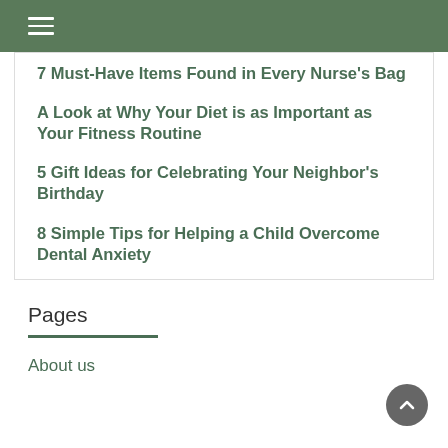Navigation bar with hamburger menu
7 Must-Have Items Found in Every Nurse's Bag
A Look at Why Your Diet is as Important as Your Fitness Routine
5 Gift Ideas for Celebrating Your Neighbor's Birthday
8 Simple Tips for Helping a Child Overcome Dental Anxiety
Pages
About us